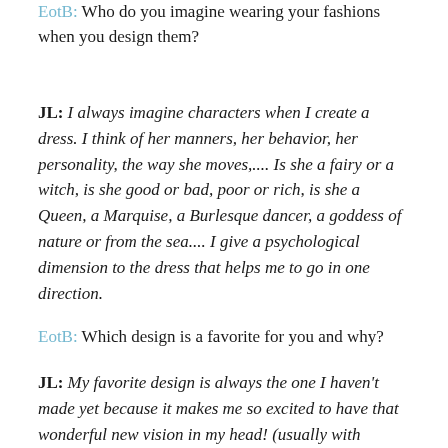EotB: Who do you imagine wearing your fashions when you design them?
JL: I always imagine characters when I create a dress. I think of her manners, her behavior, her personality, the way she moves,.... Is she a fairy or a witch, is she good or bad, poor or rich, is she a Queen, a Marquise, a Burlesque dancer, a goddess of nature or from the sea.... I give a psychological dimension to the dress that helps me to go in one direction.
EotB: Which design is a favorite for you and why?
JL: My favorite design is always the one I haven't made yet because it makes me so excited to have that wonderful new vision in my head! (usually with